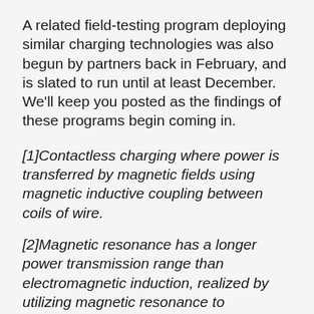A related field-testing program deploying similar charging technologies was also begun by partners back in February, and is slated to run until at least December. We’ll keep you posted as the findings of these programs begin coming in.
[1]Contactless charging where power is transferred by magnetic fields using magnetic inductive coupling between coils of wire.
[2]Magnetic resonance has a longer power transmission range than electromagnetic induction, realized by utilizing magnetic resonance to equalizing the resonance frequency of the transmitting pad and receiving pad in addition to power transmission by electromagnetic induction